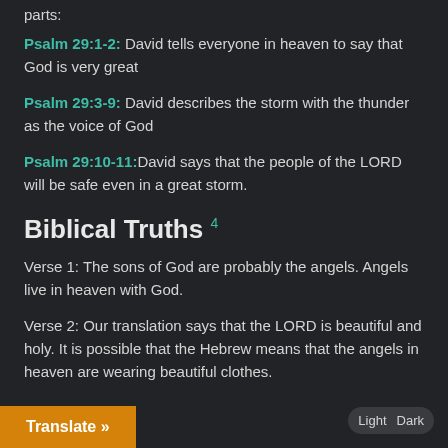parts:
Psalm 29:1-2: David tells everyone in heaven to say that God is very great
Psalm 29:3-9: David describes the storm with the thunder as the voice of God
Psalm 29:10-11: David says that the people of the LORD will be safe even in a great storm.
Biblical Truths 4
Verse 1: The sons of God are probably the angels. Angels live in heaven with God.
Verse 2: Our translation says that the LORD is beautiful and holy. It is possible that the Hebrew means that the angels in heaven are wearing beautiful clothes.